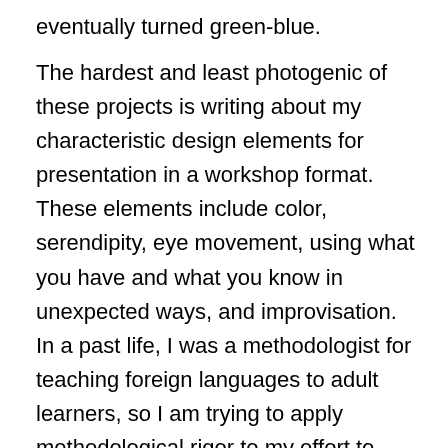eventually turned green-blue.
The hardest and least photogenic of these projects is writing about my characteristic design elements for presentation in a workshop format. These elements include color, serendipity, eye movement, using what you have and what you know in unexpected ways, and improvisation. In a past life, I was a methodologist for teaching foreign languages to adult learners, so I am trying to apply methodological rigor to my effort to define the elements of how I do what I do. The task of creating a prospectus for an educational workshop is complicated by the fact that I don't want to teach specific knitting skills and am not arrogant enough to think that I can teach anyone to see and think the way I do, or should do so even if I could. But I do think that I can talk about the design principles that underlie the...